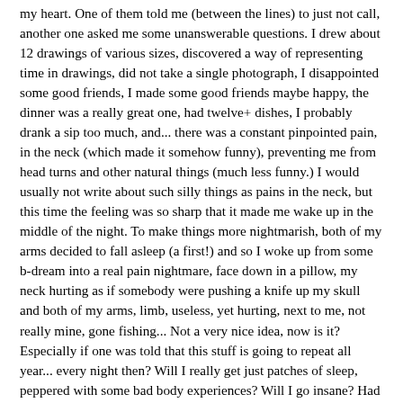my heart. One of them told me (between the lines) to just not call, another one asked me some unanswerable questions. I drew about 12 drawings of various sizes, discovered a way of representing time in drawings, did not take a single photograph, I disappointed some good friends, I made some good friends maybe happy, the dinner was a really great one, had twelve+ dishes, I probably drank a sip too much, and... there was a constant pinpointed pain, in the neck (which made it somehow funny), preventing me from head turns and other natural things (much less funny.) I would usually not write about such silly things as pains in the neck, but this time the feeling was so sharp that it made me wake up in the middle of the night. To make things more nightmarish, both of my arms decided to fall asleep (a first!) and so I woke up from some b-dream into a real pain nightmare, face down in a pillow, my neck hurting as if somebody were pushing a knife up my skull and both of my arms, limb, useless, yet hurting, next to me, not really mine, gone fishing... Not a very nice idea, now is it? Especially if one was told that this stuff is going to repeat all year... every night then? Will I really get just patches of sleep, peppered with some bad body experiences? Will I go insane? Had some more, similar moments on the day of Christmas, so if things evolve further, logically, I should probably start to learn how to draw with my feet, and additionally get ready to be just very, very alone... (abandoned by my own limbs?) (A